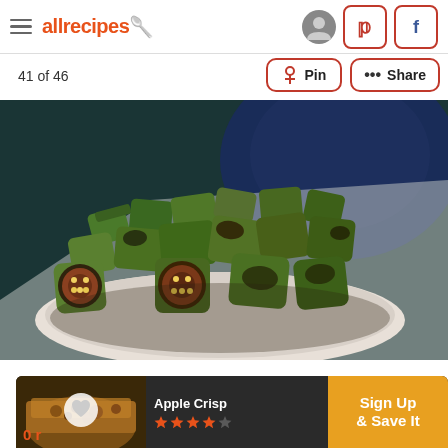allrecipes
41 of 46
[Figure (photo): Bowl of roasted okra pieces, charred and seasoned, photographed close-up with a blue bowl visible in the background]
[Figure (screenshot): Advertisement bar at bottom: Apple Crisp recipe with heart icon, star rating, and Sign Up & Save It button in orange]